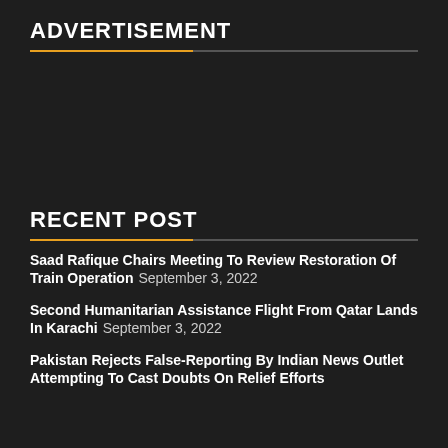ADVERTISEMENT
RECENT POST
Saad Rafique Chairs Meeting To Review Restoration Of Train Operation September 3, 2022
Second Humanitarian Assistance Flight From Qatar Lands In Karachi September 3, 2022
Pakistan Rejects False-Reporting By Indian News Outlet Attempting To Cast Doubts On Relief Efforts